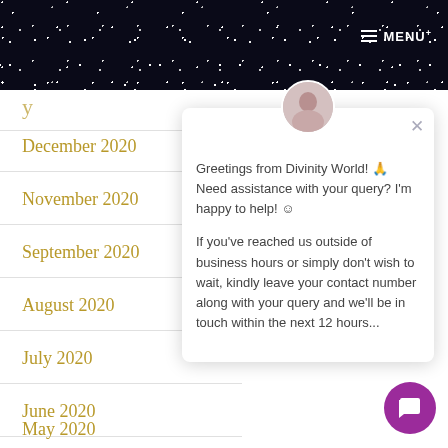MENU
December 2020
November 2020
September 2020
August 2020
July 2020
June 2020
May 2020
Greetings from Divinity World! 🙏 Need assistance with your query? I'm happy to help! ☺

If you've reached us outside of business hours or simply don't wish to wait, kindly leave your contact number along with your query and we'll be in touch within the next 12 hours...